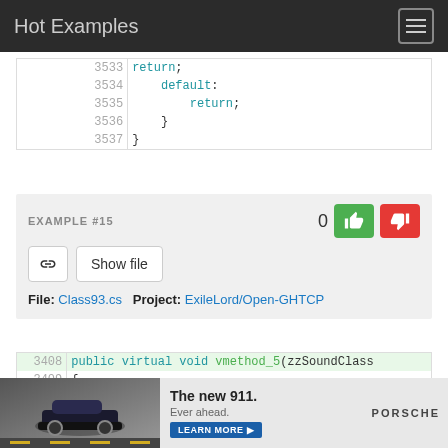Hot Examples
3533    return;
3534    default:
3535    return;
3536    }
3537    }
EXAMPLE #15
File: Class93.cs   Project: ExileLord/Open-GHTCP
3408  public virtual void vmethod_5(zzSoundClass
3409  {
3410  int num = class107_0.method_5();